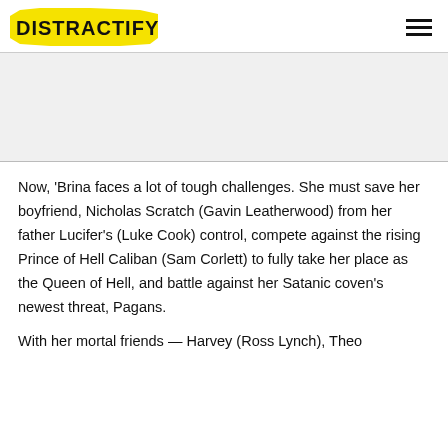DISTRACTIFY
[Figure (other): Advertisement / blank gray area placeholder]
Now, 'Brina faces a lot of tough challenges. She must save her boyfriend, Nicholas Scratch (Gavin Leatherwood) from her father Lucifer's (Luke Cook) control, compete against the rising Prince of Hell Caliban (Sam Corlett) to fully take her place as the Queen of Hell, and battle against her Satanic coven's newest threat, Pagans.
With her mortal friends — Harvey (Ross Lynch), Theo